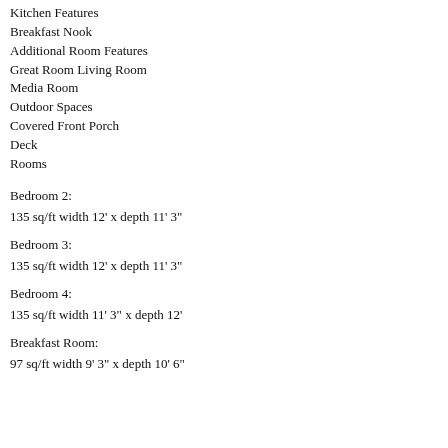Kitchen Features
Breakfast Nook
Additional Room Features
Great Room Living Room
Media Room
Outdoor Spaces
Covered Front Porch
Deck
Rooms
Bedroom 2:
135 sq/ft width 12' x depth 11' 3"
Bedroom 3:
135 sq/ft width 12' x depth 11' 3"
Bedroom 4:
135 sq/ft width 11' 3" x depth 12'
Breakfast Room:
97 sq/ft width 9' 3" x depth 10' 6"